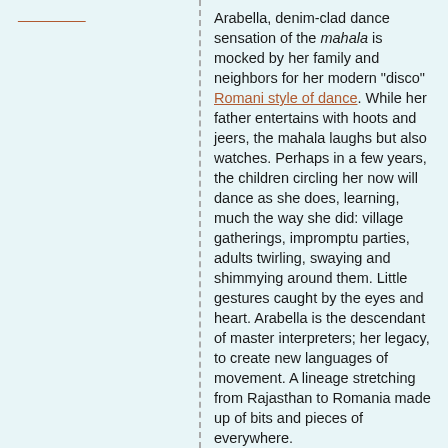[underlined link text in left column top]
Arabella, denim-clad dance sensation of the mahala is mocked by her family and neighbors for her modern "disco" Romani style of dance. While her father entertains with hoots and jeers, the mahala laughs but also watches. Perhaps in a few years, the children circling her now will dance as she does, learning, much the way she did: village gatherings, impromptu parties, adults twirling, swaying and shimmying around them. Little gestures caught by the eyes and heart. Arabella is the descendant of master interpreters; her legacy, to create new languages of movement. A lineage stretching from Rajasthan to Romania made up of bits and pieces of everywhere.
Traditional Romanes mixes with the bumps...